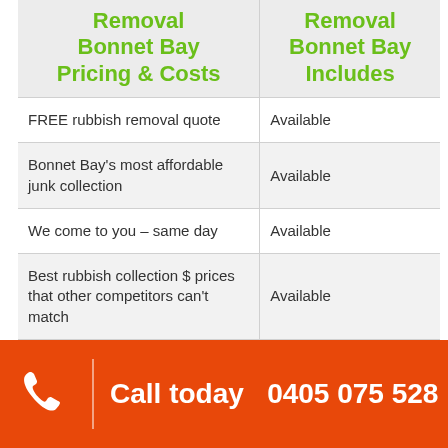| Removal Bonnet Bay Pricing & Costs | Removal Bonnet Bay Includes |
| --- | --- |
| FREE rubbish removal quote | Available |
| Bonnet Bay's most affordable junk collection | Available |
| We come to you – same day | Available |
| Best rubbish collection $ prices that other competitors can't match | Available |
| Bonnet Bay and all other |  |
Call today  0405 075 528